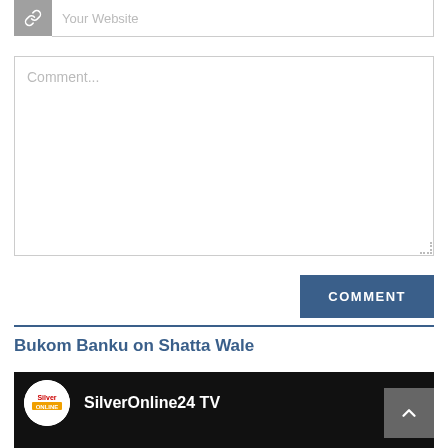[Figure (screenshot): Website URL input field with chain-link icon on gray background and text field showing placeholder 'Your Website']
[Figure (screenshot): Comment text area with placeholder text 'Comment...' and resize handle at bottom right]
[Figure (screenshot): COMMENT submit button in dark blue]
Bukom Banku on Shatta Wale
[Figure (screenshot): Video thumbnail showing SilverOnline24 TV channel logo (white circle with Silver text) and channel name on dark background. Back-to-top arrow button in gray at bottom right.]